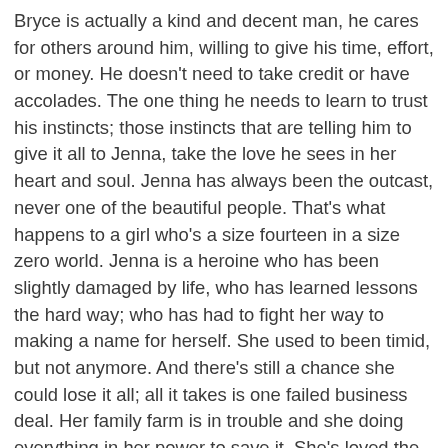Bryce is actually a kind and decent man, he cares for others around him, willing to give his time, effort, or money. He doesn't need to take credit or have accolades. The one thing he needs to learn to trust his instincts; those instincts that are telling him to give it all to Jenna, take the love he sees in her heart and soul. Jenna has always been the outcast, never one of the beautiful people. That's what happens to a girl who's a size fourteen in a size zero world. Jenna is a heroine who has been slightly damaged by life, who has learned lessons the hard way; who has had to fight her way to making a name for herself. She used to been timid, but not anymore. And there's still a chance she could lose it all; all it takes is one failed business deal. Her family farm is in trouble and she doing everything in her power to save it. She's loved the beautiful Bryce her whole life, but is he ready to hear the truth and is she ready to tell it. Is he the same Bryce or has he changed? When Bryce and Jenna come together, it definitely heats up the atmosphere with sparks that blow the mind. Bryce is a consuming lover that is willing to give and needs to take. His need for Jenna becomes a force in his life, a force that Jenna has wanted her whole life. Hot in Here is a great debut contemporary romance for